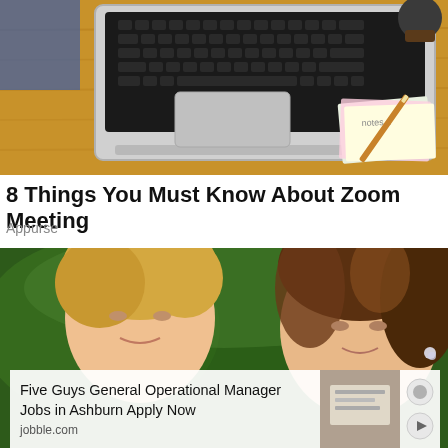[Figure (photo): Laptop computer on a wooden desk with a notepad and pencil, viewed from above]
8 Things You Must Know About Zoom Meeting
Appurse
[Figure (photo): Two people posing for a photo, a man with blond hair on the left and a woman with brunette hair on the right, in front of green foliage]
Five Guys General Operational Manager Jobs in Ashburn Apply Now
jobble.com